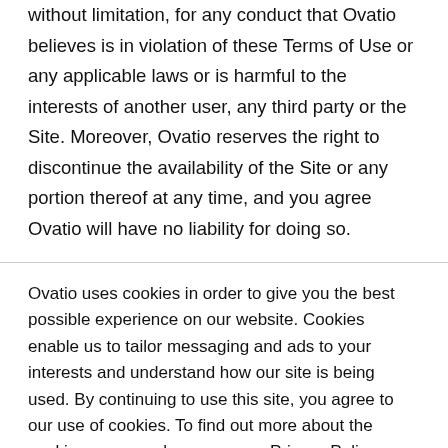without limitation, for any conduct that Ovatio believes is in violation of these Terms of Use or any applicable laws or is harmful to the interests of another user, any third party or the Site. Moreover, Ovatio reserves the right to discontinue the availability of the Site or any portion thereof at any time, and you agree Ovatio will have no liability for doing so.
Ovatio uses cookies in order to give you the best possible experience on our website. Cookies enable us to tailor messaging and ads to your interests and understand how our site is being used. By continuing to use this site, you agree to our use of cookies. To find out more about the cookies we use, please see our Privacy Policy.
Accept
Decline